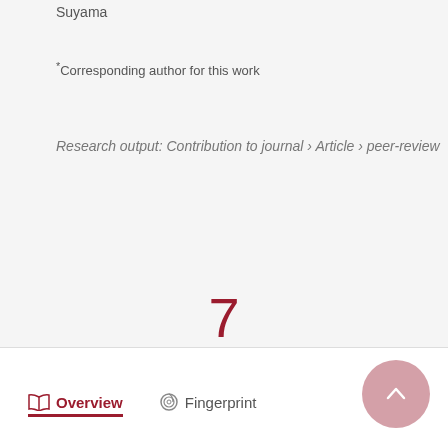Suyama
*Corresponding author for this work
Research output: Contribution to journal › Article › peer-review
7 Citations (Scopus)
Overview   Fingerprint